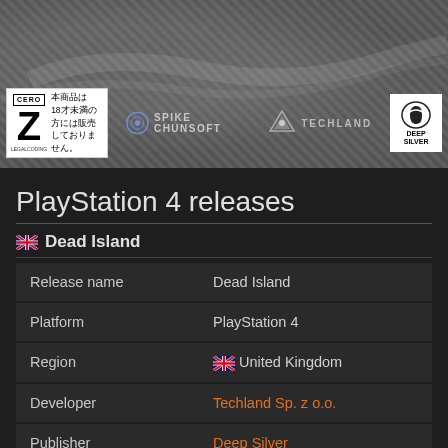[Figure (photo): Banner image with dark textured rocky background showing logos: CERO Z rating box, Spike Chunsoft logo, Techland logo, Deep Silver logo]
PlayStation 4 releases
🇬🇧 Dead Island
| Release name | Dead Island |
| Platform | PlayStation 4 |
| Region | 🇬🇧 United Kingdom |
| Developer | Techland Sp. z o.o. |
| Publisher | Deep Silver |
| Release date | May 31, 2016 |
| Product code | None |